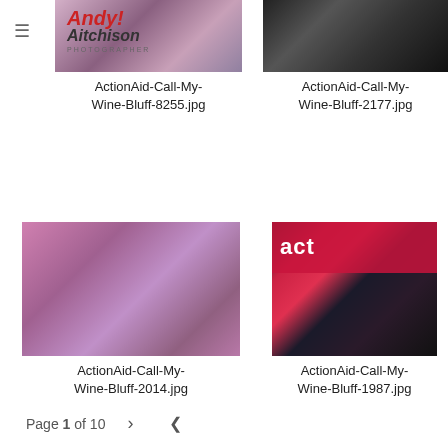[Figure (photo): Andy Aitchison Photographer logo with red italic text]
[Figure (photo): Event photo top left - people at dinner/party event, ActionAid Call My Wine Bluff 8255]
[Figure (photo): Event photo top right - band/music equipment on dark stage, ActionAid Call My Wine Bluff 2177]
ActionAid-Call-My-Wine-Bluff-8255.jpg
ActionAid-Call-My-Wine-Bluff-2177.jpg
[Figure (photo): Event photo bottom left - people celebrating at purple-lit party, ActionAid Call My Wine Bluff 2014]
[Figure (photo): Event photo bottom right - woman looking down at wine glasses with ActionAid banner, ActionAid Call My Wine Bluff 1987]
ActionAid-Call-My-Wine-Bluff-2014.jpg
ActionAid-Call-My-Wine-Bluff-1987.jpg
Page 1 of 10  >  <